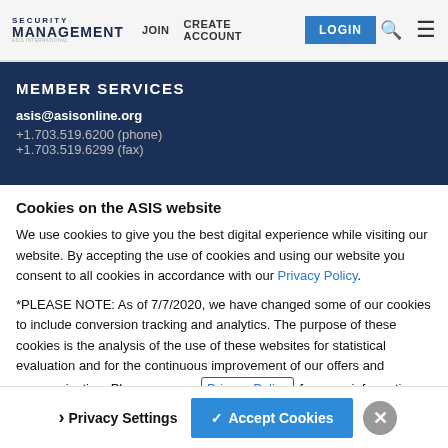SECURITY MANAGEMENT | JOIN | CREATE ACCOUNT | LOGIN
MEMBER SERVICES
asis@asisonline.org
+1.703.519.6200 (phone)
+1.703.519.6299 (fax)
Cookies on the ASIS website
We use cookies to give you the best digital experience while visiting our website. By accepting the use of cookies and using our website you consent to all cookies in accordance with our Privacy Policy.
*PLEASE NOTE: As of 7/7/2020, we have changed some of our cookies to include conversion tracking and analytics. The purpose of these cookies is the analysis of the use of these websites for statistical evaluation and for the continuous improvement of our offers and communication. Please see our Privacy Policy for more information.
Privacy Settings | ✓ Accept Cookies | ✕